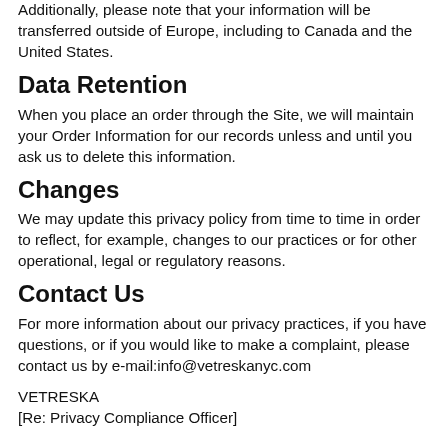Additionally, please note that your information will be transferred outside of Europe, including to Canada and the United States.
Data Retention
When you place an order through the Site, we will maintain your Order Information for our records unless and until you ask us to delete this information.
Changes
We may update this privacy policy from time to time in order to reflect, for example, changes to our practices or for other operational, legal or regulatory reasons.
Contact Us
For more information about our privacy practices, if you have questions, or if you would like to make a complaint, please contact us by e-mail:info@vetreskanyc.com
VETRESKA
[Re: Privacy Compliance Officer]